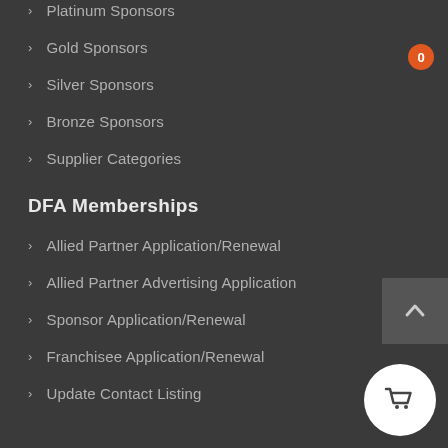Platinum Sponsors
Gold Sponsors
Silver Sponsors
Bronze Sponsors
Supplier Categories
DFA Memberships
Allied Partner Application/Renewal
Allied Partner Advertising Application
Sponsor Application/Renewal
Franchisee Application/Renewal
Update Contact Listing